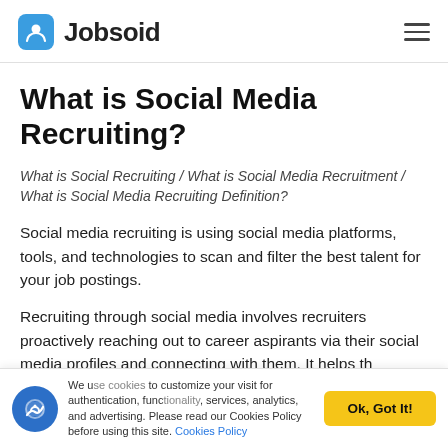Jobsoid
What is Social Media Recruiting?
What is Social Recruiting / What is Social Media Recruitment / What is Social Media Recruiting Definition?
Social media recruiting is using social media platforms, tools, and technologies to scan and filter the best talent for your job postings.
Recruiting through social media involves recruiters proactively reaching out to career aspirants via their social media profiles and connecting with them. It helps th
We use cookies to customize your visit for authentication, functionality, services, analytics, and advertising. Please read our Cookies Policy before using this site. Cookies Policy